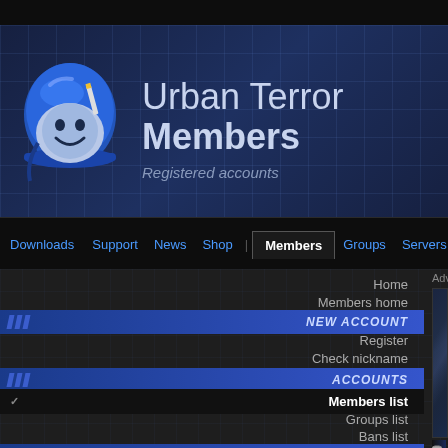Urban Terror Members
Registered accounts
Downloads | Support | News | Shop | Members | Groups | Servers | Foru...
Home
Members home
NEW ACCOUNT
Register
Check nickname
ACCOUNTS
✓ Members list
Groups list
Bans list
ADMINS
Urt Staff
Advertisement
[Figure (screenshot): Advertisement placeholder with dark diagonal design]
[Figure (illustration): Registered members banner with dog tag icons]
Member levels:
.iq Iraq